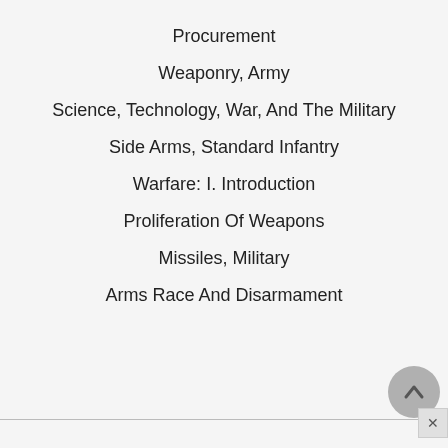Procurement
Weaponry, Army
Science, Technology, War, And The Military
Side Arms, Standard Infantry
Warfare: I. Introduction
Proliferation Of Weapons
Missiles, Military
Arms Race And Disarmament